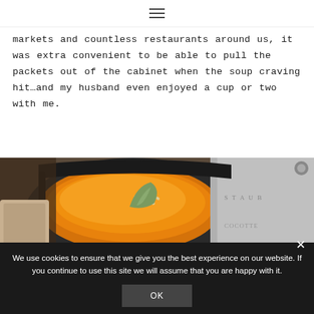≡
markets and countless restaurants around us, it was extra convenient to be able to pull the packets out of the cabinet when the soup craving hit…and my husband even enjoyed a cup or two with me.
[Figure (photo): Close-up photo of orange/yellow butternut squash soup in a dark cast iron Staub pot, garnished with pine nuts and a sage leaf.]
We use cookies to ensure that we give you the best experience on our website. If you continue to use this site we will assume that you are happy with it.
OK